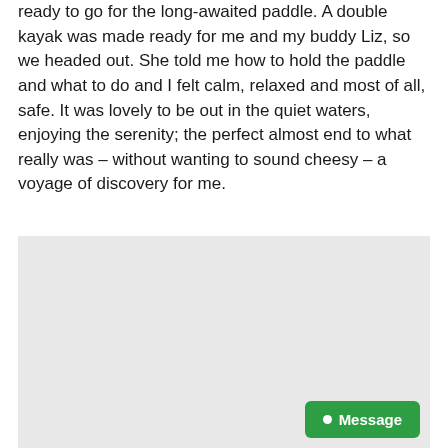ready to go for the long-awaited paddle. A double kayak was made ready for me and my buddy Liz, so we headed out. She told me how to hold the paddle and what to do and I felt calm, relaxed and most of all, safe. It was lovely to be out in the quiet waters, enjoying the serenity; the perfect almost end to what really was – without wanting to sound cheesy – a voyage of discovery for me.
[Figure (photo): A large light grey/blank image placeholder occupying the lower half of the page. A green 'Message' button with a white circle dot is visible in the bottom-right corner.]